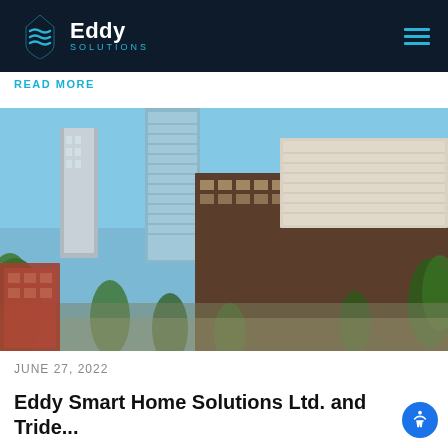Eddy Solutions
READ MORE
[Figure (photo): Architectural rendering of a modern urban mixed-use development with glass towers, brown mid-rise buildings, and trees in the foreground under a blue sky.]
JUNE 27, 2022
Eddy Smart Home Solutions Ltd. and Tride...